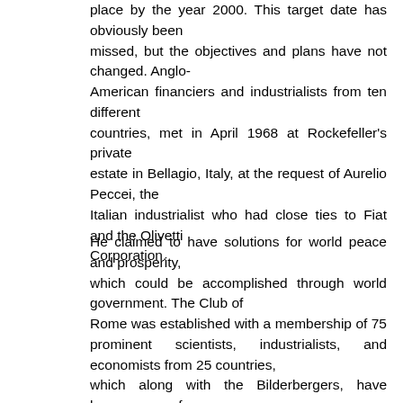place by the year 2000. This target date has obviously been missed, but the objectives and plans have not changed. Anglo-American financiers and industrialists from ten different countries, met in April 1968 at Rockefeller's private estate in Bellagio, Italy, at the request of Aurelio Peccei, the Italian industrialist who had close ties to Fiat and the Olivetti Corporation.
He claimed to have solutions for world peace and prosperity, which could be accomplished through world government. The Club of Rome was established with a membership of 75 prominent scientists, industrialists, and economists from 25 countries, which along with the Bilderbergers, have become one of